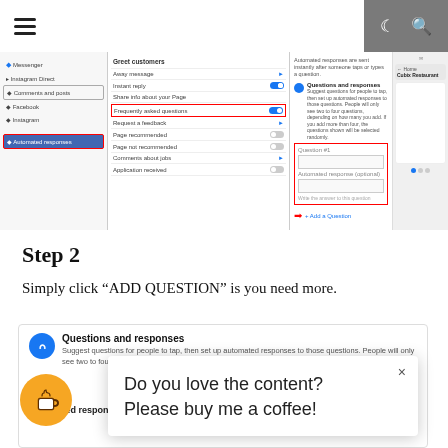[Figure (screenshot): Screenshot of Facebook Automated Responses settings panel showing left navigation, middle settings list with Frequently asked questions toggle highlighted in red box, and right panel showing Questions and responses section with Question #1 field and Automated response field, and Add a Question button with red arrow.]
Step 2
Simply click “ADD QUESTION” is you need more.
[Figure (screenshot): Screenshot of Questions and responses card showing: icon, bold title 'Questions and responses', description text about suggesting questions and automated responses, Question field, and Automated response (optional) label at bottom. A popup overlay reads 'Do you love the content? Please buy me a coffee!' with a close X button. An orange coffee cup button appears bottom left.]